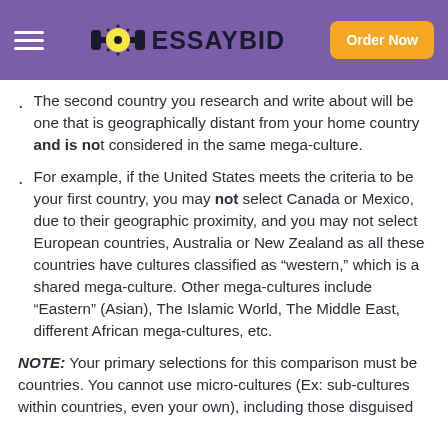EssayBid — Order Now
The second country you research and write about will be one that is geographically distant from your home country and is not considered in the same mega-culture.
For example, if the United States meets the criteria to be your first country, you may not select Canada or Mexico, due to their geographic proximity, and you may not select European countries, Australia or New Zealand as all these countries have cultures classified as “western,” which is a shared mega-culture. Other mega-cultures include “Eastern” (Asian), The Islamic World, The Middle East, different African mega-cultures, etc.
NOTE: Your primary selections for this comparison must be countries. You cannot use micro-cultures (Ex: sub-cultures within countries, even your own), including those disguised